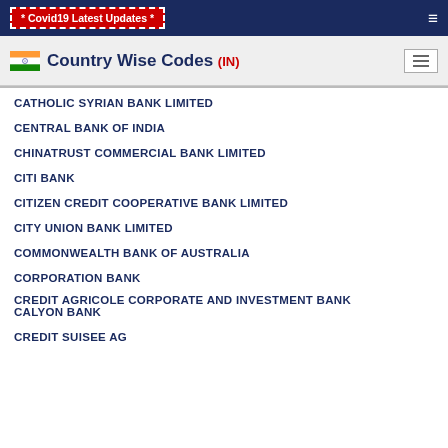* Covid19 Latest Updates *
Country Wise Codes (IN)
CATHOLIC SYRIAN BANK LIMITED
CENTRAL BANK OF INDIA
CHINATRUST COMMERCIAL BANK LIMITED
CITI BANK
CITIZEN CREDIT COOPERATIVE BANK LIMITED
CITY UNION BANK LIMITED
COMMONWEALTH BANK OF AUSTRALIA
CORPORATION BANK
CREDIT AGRICOLE CORPORATE AND INVESTMENT BANK CALYON BANK
CREDIT SUISEE AG